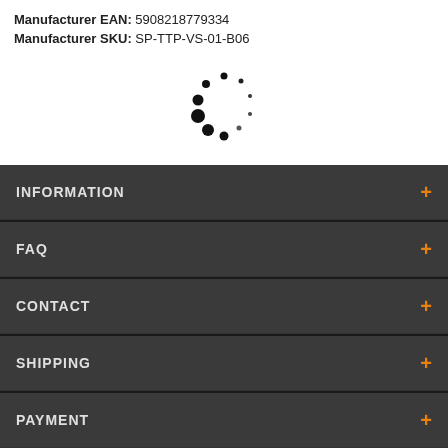Manufacturer EAN: 5908218779334
Manufacturer SKU: SP-TTP-VS-01-B06
[Figure (other): Two loading spinner icons (circular dot patterns) shown in black on white background]
INFORMATION +
FAQ +
CONTACT +
SHIPPING +
PAYMENT +